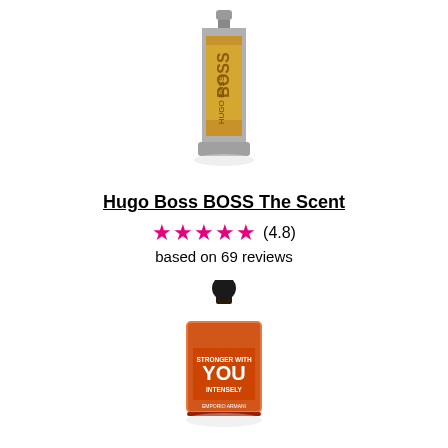[Figure (photo): Hugo Boss BOSS The Scent perfume bottle — amber/gold bottle with metal cage design and silver cap]
Hugo Boss BOSS The Scent
★★★★★ (4.8) based on 69 reviews
[Figure (photo): Emporio Armani Stronger With You Intensely perfume bottle — square orange/amber bottle with dark spherical cap]